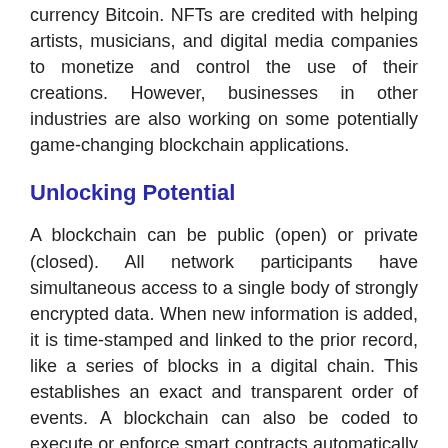currency Bitcoin. NFTs are credited with helping artists, musicians, and digital media companies to monetize and control the use of their creations. However, businesses in other industries are also working on some potentially game-changing blockchain applications.
Unlocking Potential
A blockchain can be public (open) or private (closed). All network participants have simultaneous access to a single body of strongly encrypted data. When new information is added, it is time-stamped and linked to the prior record, like a series of blocks in a digital chain. This establishes an exact and transparent order of events. A blockchain can also be coded to execute or enforce smart contracts automatically when certain conditions are met. Because no third-party intermediary (or central authority) is needed, transactions can be completed instantaneously and at a lower cost.